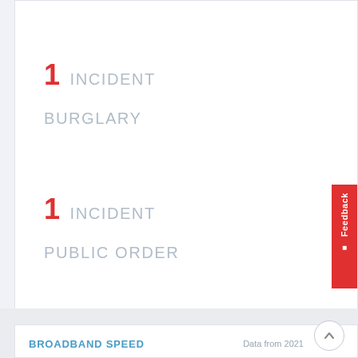1 INCIDENT
BURGLARY
1 INCIDENT
PUBLIC ORDER
BROADBAND SPEED
Data from 2021